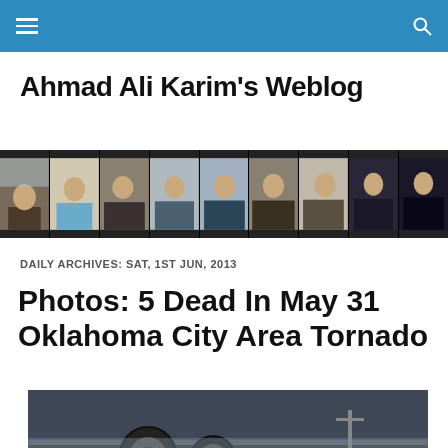Ahmad Ali Karim's Weblog — navigation bar
Ahmad Ali Karim's Weblog
[Figure (photo): Horizontal photo strip showing Ahmad Ali Karim at various ages from young child to adult, across approximately 9 photos]
DAILY ARCHIVES: SAT, 1ST JUN, 2013
Photos: 5 Dead In May 31 Oklahoma City Area Tornado
[Figure (photo): Dark dramatic photo showing car tires and debris from the Oklahoma City area tornado on May 31, 2013]